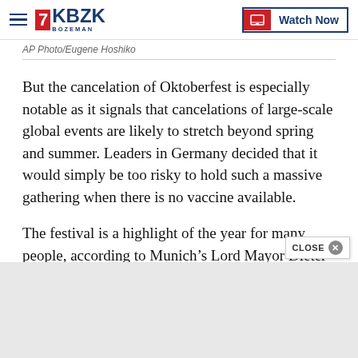KBZK Bozeman | Watch Now
AP Photo/Eugene Hoshiko
But the cancelation of Oktoberfest is especially notable as it signals that cancelations of large-scale global events are likely to stretch beyond spring and summer. Leaders in Germany decided that it would simply be too risky to hold such a massive gathering when there is no vaccine available.
The festival is a highlight of the year for many people, according to Munich’s Lord Mayor Dieter Reiter. “Not to let it happen is a bitter pill to swallow,” he said